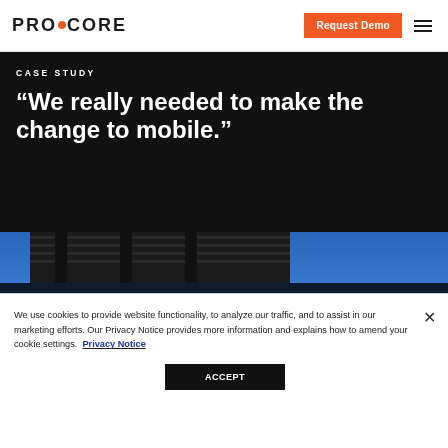PROCORE
CASE STUDY
"We really needed to make the change to mobile."
[Figure (photo): Exterior photograph of a modern building at dusk with blue sky, illuminated soffit, and dark metal facade]
We use cookies to provide website functionality, to analyze our traffic, and to assist in our marketing efforts. Our Privacy Notice provides more information and explains how to amend your cookie settings. Privacy Notice